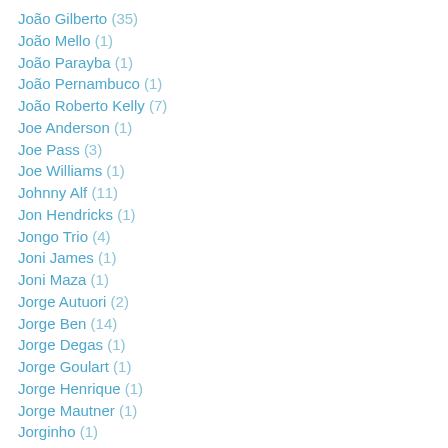João Gilberto (35)
João Mello (1)
João Parayba (1)
João Pernambuco (1)
João Roberto Kelly (7)
Joe Anderson (1)
Joe Pass (3)
Joe Williams (1)
Johnny Alf (11)
Jon Hendricks (1)
Jongo Trio (4)
Joni James (1)
Joni Maza (1)
Jorge Autuori (2)
Jorge Ben (14)
Jorge Degas (1)
Jorge Goulart (1)
Jorge Henrique (1)
Jorge Mautner (1)
Jorginho (1)